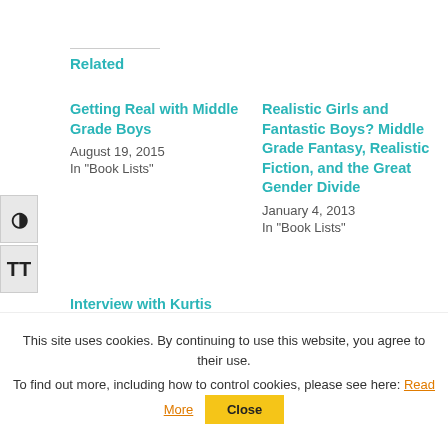Related
Getting Real with Middle Grade Boys
August 19, 2015
In "Book Lists"
Realistic Girls and Fantastic Boys? Middle Grade Fantasy, Realistic Fiction, and the Great Gender Divide
January 4, 2013
In "Book Lists"
Interview with Kurtis Scaletta–and a
This site uses cookies. By continuing to use this website, you agree to their use.
To find out more, including how to control cookies, please see here: Read More
Close